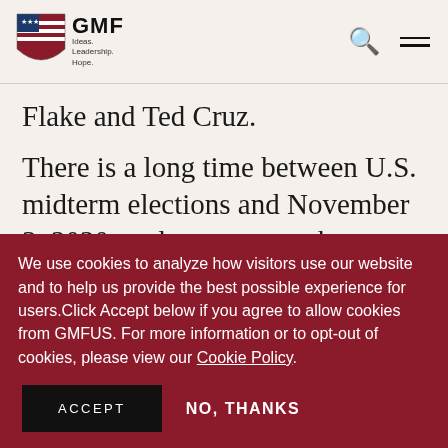[Figure (logo): GMF (German Marshall Fund) logo with shield icon containing stars and stripes, and text 'GMF Ideas. Leadership. Hope.']
Flake and Ted Cruz.
There is a long time between U.S. midterm elections and November 3, 2020, and too many unknown factors. These could include major Russian interference in the midterms and U.S.
We use cookies to analyze how visitors use our website and to help us provide the best possible experience for users.Click Accept below if you agree to allow cookies from GMFUS. For more information or to opt-out of cookies, please view our Cookie Policy.
ACCEPT
NO, THANKS